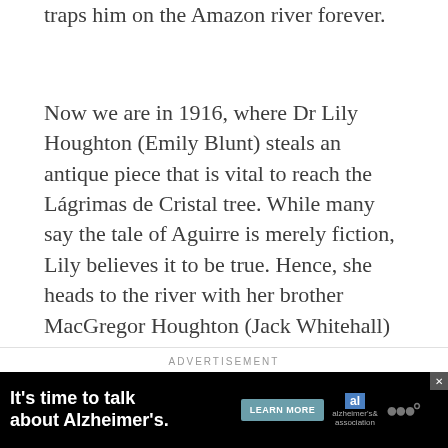traps him on the Amazon river forever.
Now we are in 1916, where Dr Lily Houghton (Emily Blunt) steals an antique piece that is vital to reach the Lágrimas de Cristal tree. While many say the tale of Aguirre is merely fiction, Lily believes it to be true. Hence, she heads to the river with her brother MacGregor Houghton (Jack Whitehall) to find the truth. For the boat ride to their destination, they hire skipper Frank (Dwayne Johnson). Frank happens to know a lot about the jungle and sees more than what meets the eye.
ADVERTISEMENT
[Figure (other): Advertisement banner with black background. Left side shows white bold text: 'It's time to talk about Alzheimer's.' Center has a teal 'LEARN MORE' button. Right side shows the Alzheimer's Association logo (blue AL box and script text) and a gray dots/circles logo. Top right has an X close button.]